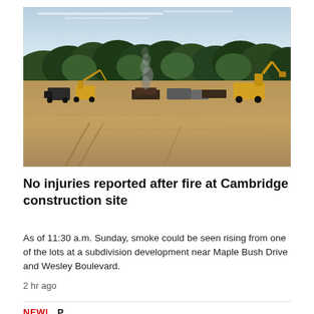[Figure (photo): A wide-shot photograph of a construction site showing excavated bare earth in the foreground, heavy machinery including yellow excavators and trucks in the middle ground, smoke rising from a fire, and a dense tree line of dark green conifers against a pale blue sky in the background.]
No injuries reported after fire at Cambridge construction site
As of 11:30 a.m. Sunday, smoke could be seen rising from one of the lots at a subdivision development near Maple Bush Drive and Wesley Boulevard.
2 hr ago
NEW|